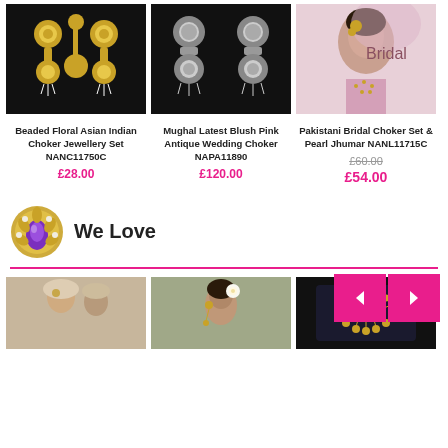[Figure (photo): Three jewelry product images: gold beaded floral earrings set on black background, silver Mughal style earrings on black background, South Asian bridal woman wearing pink embroidered dress]
Beaded Floral Asian Indian Choker Jewellery Set NANC11750C
£28.00
Mughal Latest Blush Pink Antique Wedding Choker NAPA11890
£120.00
Pakistani Bridal Choker Set & Pearl Jhumar NANL11715C
£60.00
£54.00
We Love
[Figure (photo): Three bottom product images: South Asian bride in cream with jewelry, woman with white flower hair accessory, gold choker necklace set on black velvet]